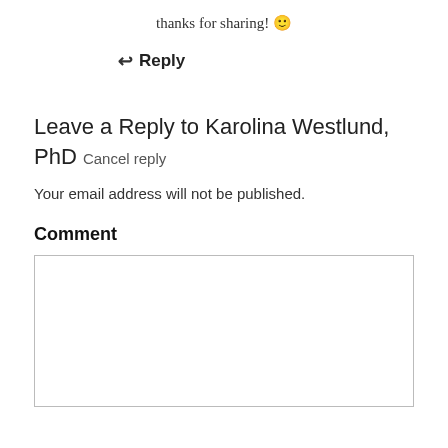thanks for sharing! 🙂
↩ Reply
Leave a Reply to Karolina Westlund, PhD Cancel reply
Your email address will not be published.
Comment
[Figure (other): Empty comment text area input box]